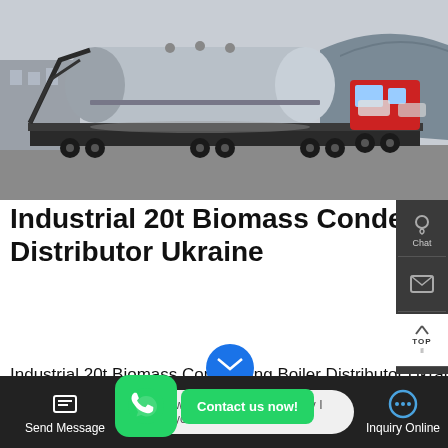[Figure (photo): Large industrial biomass boiler on a flatbed truck/trailer in an industrial yard, with buildings and a red truck visible in the background.]
Industrial 20t Biomass Condensing Boiler Distributor Ukraine
Industrial 20t Biomass Condensing Boiler Distributor Ukraine. ct Related Information. How mu 1 ton atmospheric hot water boiler - Fangkuai . Atmospheric